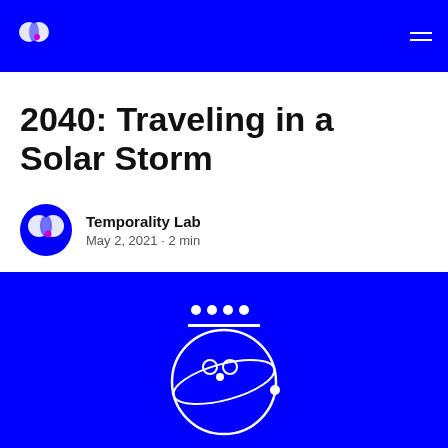Temporality Lab — navigation bar with logo and menu
2040: Traveling in a Solar Storm
Temporality Lab
May 2, 2021 · 2 min
[Figure (illustration): Blue background hero image with a white line-art illustration of a crown/satellite-like symbol above a circular face or planet with an orbital ring, and four dots above a horizontal line.]